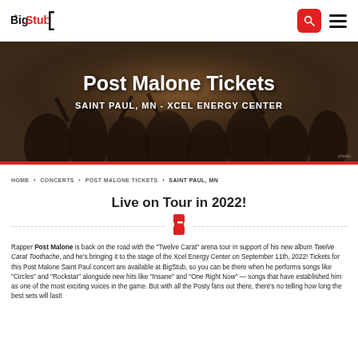BigStub
Post Malone Tickets
SAINT PAUL, MN - XCEL ENERGY CENTER
HOME › CONCERTS › POST MALONE TICKETS › SAINT PAUL, MN
Live on Tour in 2022!
Rapper Post Malone is back on the road with the "Twelve Carat" arena tour in support of his new album Twelve Carat Toothache, and he's bringing it to the stage of the Xcel Energy Center on September 11th, 2022!  Tickets for this Post Malone Saint Paul concert are available at BigStub, so you can be there when he performs songs like "Circles" and "Rockstar" alongside new hits like "Insane" and "One Right Now" — songs that have established him as one of the most exciting voices in the game.  But with all the Posty fans out there, there's no telling how long the best sets will last!